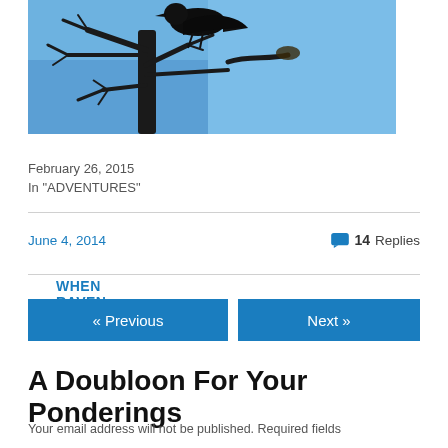[Figure (photo): A black raven perched in a bare winter tree against a blue sky]
WHEN RAVEN CALLS
February 26, 2015
In "ADVENTURES"
June 4, 2014
14 Replies
A Doubloon For Your Ponderings
Your email address will not be published. Required fields